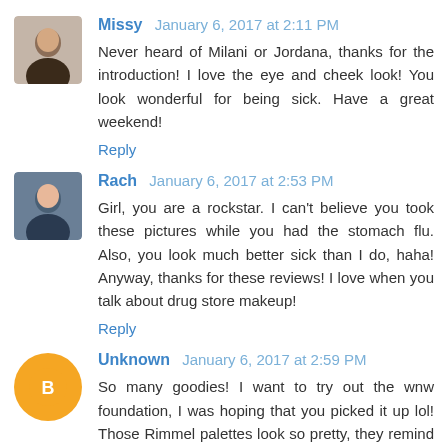Missy January 6, 2017 at 2:11 PM
Never heard of Milani or Jordana, thanks for the introduction! I love the eye and cheek look! You look wonderful for being sick. Have a great weekend!
Reply
Rach January 6, 2017 at 2:53 PM
Girl, you are a rockstar. I can't believe you took these pictures while you had the stomach flu. Also, you look much better sick than I do, haha! Anyway, thanks for these reviews! I love when you talk about drug store makeup!
Reply
Unknown January 6, 2017 at 2:59 PM
So many goodies! I want to try out the wnw foundation, I was hoping that you picked it up lol! Those Rimmel palettes look so pretty, they remind me of the NYC palette that I have. And the Milani highlighter is so pretty!